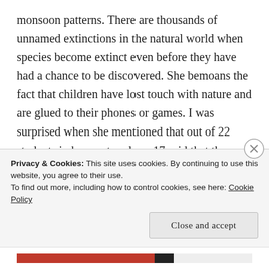monsoon patterns. There are thousands of unnamed extinctions in the natural world when species become extinct even before they have had a chance to be discovered. She bemoans the fact that children have lost touch with nature and are glued to their phones or games. I was surprised when she mentioned that out of 22 students in her poetry class, 17 said that they had never seen a firefly although they lived in a town where fireflies were common. Aimee Nezhukumatathil asks us to slow down and look for fireflies:
Privacy & Cookies: This site uses cookies. By continuing to use this website, you agree to their use.
To find out more, including how to control cookies, see here: Cookie Policy
Close and accept